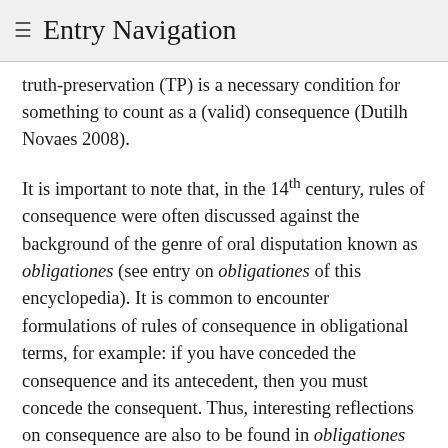≡ Entry Navigation
truth-preservation (TP) is a necessary condition for something to count as a (valid) consequence (Dutilh Novaes 2008).
It is important to note that, in the 14th century, rules of consequence were often discussed against the background of the genre of oral disputation known as obligationes (see entry on obligationes of this encyclopedia). It is common to encounter formulations of rules of consequence in obligational terms, for example: if you have conceded the consequence and its antecedent, then you must concede the consequent. Thus, interesting reflections on consequence are also to be found in obligationes treatises (and vice-versa).
3.2 Burley and Ockham
Walter Burley is the author of the oldest treatise on consequence with known authorship (edited by Brown in 1980), but it is in his later work De Puritate, longer version, that one finds his fully developed theory of